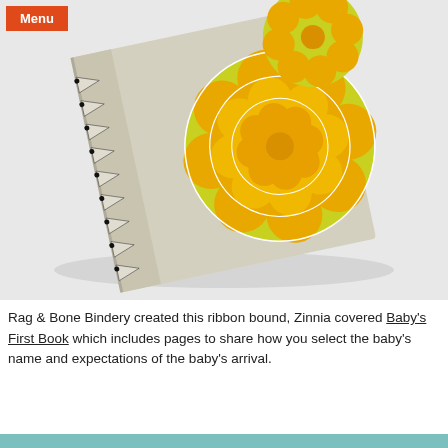[Figure (photo): A ribbon bound baby book with yellow and white zinnia flower pattern cover, photographed at an angle on a white background. The book has a decorative spine with triangular ribbon binding details.]
Rag & Bone Bindery created this ribbon bound, Zinnia covered Baby's First Book which includes pages to share how you select the baby's name and expectations of the baby's arrival.